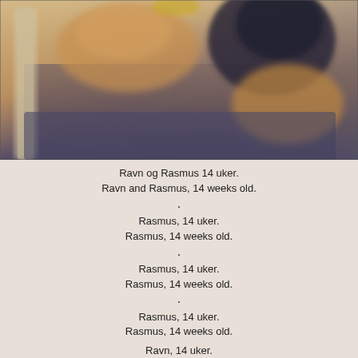[Figure (photo): Two kittens (Ravn and Rasmus) on a dark blue/grey surface, photographed at 14 weeks old. Blurred background with warm tones.]
Ravn og Rasmus 14 uker.
Ravn and Rasmus, 14 weeks old.
•
Rasmus, 14 uker.
Rasmus, 14 weeks old.
•
Rasmus, 14 uker.
Rasmus, 14 weeks old.
•
Rasmus, 14 uker.
Rasmus, 14 weeks old.
Ravn, 14 uker.
Ravn, 14 weeks old.
•
Ravn, 14 uker.
Ravn, 14 weeks old.